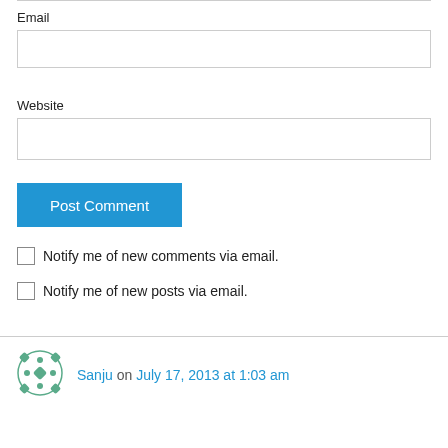Email
[Figure (other): Email text input field (empty)]
Website
[Figure (other): Website text input field (empty)]
[Figure (other): Post Comment button (blue)]
Notify me of new comments via email.
Notify me of new posts via email.
Sanju on July 17, 2013 at 1:03 am